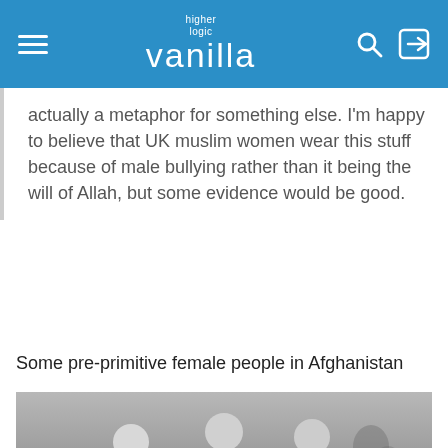higher logic vanilla
actually a metaphor for something else. I'm happy to believe that UK muslim women wear this stuff because of male bullying rather than it being the will of Allah, but some evidence would be good.
Some pre-primitive female people in Afghanistan
[Figure (photo): Black and white photograph of three women walking outdoors in Afghanistan, dressed in Western-style clothing including skirts and blouses, smiling.]